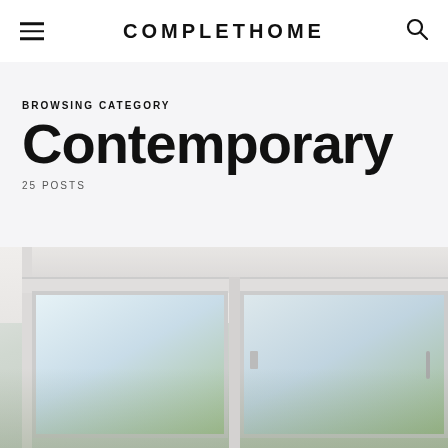COMPLETEHOME
BROWSING CATEGORY
Contemporary
25 POSTS
[Figure (photo): Interior photo showing white uPVC double-hung windows from an inside perspective, with light-filled panes and green outdoor foliage visible through the glass]